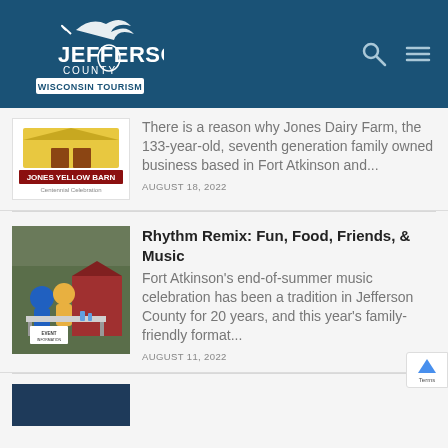Jefferson County Wisconsin Tourism
[Figure (photo): Jones Yellow Barn Centennial Celebration logo/badge]
There is a reason why Jones Dairy Farm, the 133-year-old, seventh generation family owned business based in Fort Atkinson and...
AUGUST 18, 2022
Rhythm Remix: Fun, Food, Friends, & Music
[Figure (photo): Outdoor event with people at a table with a sign reading EVENT INFORMATION]
Fort Atkinson's end-of-summer music celebration has been a tradition in Jefferson County for 20 years, and this year's family-friendly format...
AUGUST 11, 2022
[Figure (photo): Partially visible third article image with dark blue background]